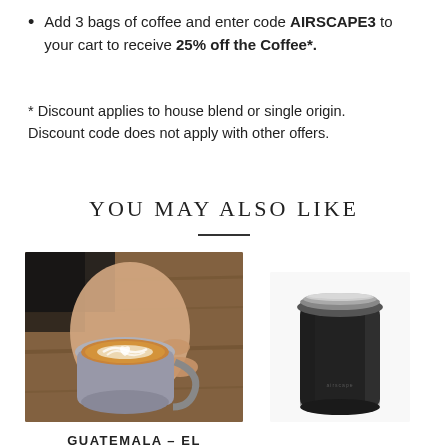Add 3 bags of coffee and enter code AIRSCAPE3 to your cart to receive 25% off the Coffee*.
* Discount applies to house blend or single origin.
Discount code does not apply with other offers.
YOU MAY ALSO LIKE
[Figure (photo): A hand holding a latte art coffee cup on a wooden surface]
GUATEMALA – EL BOCUERON NATURAL
[Figure (photo): A matte black Airscape coffee canister with silver lid]